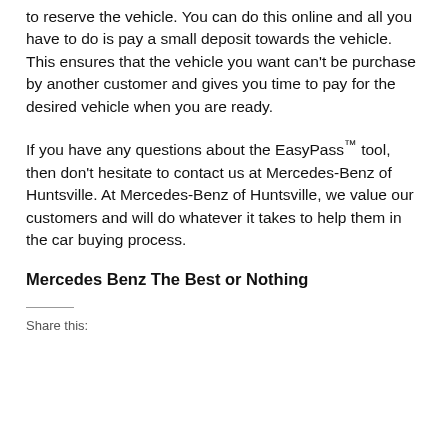money to purchase the vehicle, you are allowed to reserve the vehicle. You can do this online and all you have to do is pay a small deposit towards the vehicle. This ensures that the vehicle you want can't be purchase by another customer and gives you time to pay for the desired vehicle when you are ready.
If you have any questions about the EasyPass™ tool, then don't hesitate to contact us at Mercedes-Benz of Huntsville. At Mercedes-Benz of Huntsville, we value our customers and will do whatever it takes to help them in the car buying process.
Mercedes Benz The Best or Nothing
Share this: